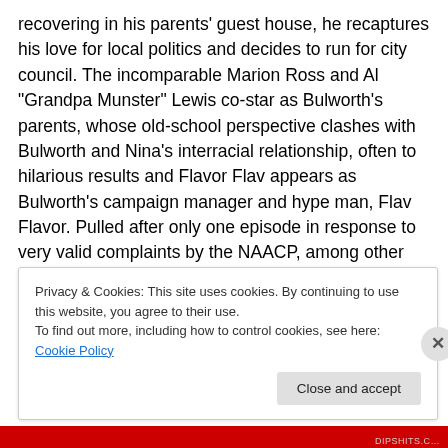recovering in his parents' guest house, he recaptures his love for local politics and decides to run for city council. The incomparable Marion Ross and Al "Grandpa Munster" Lewis co-star as Bulworth's parents, whose old-school perspective clashes with Bulworth and Nina's interracial relationship, often to hilarious results and Flavor Flav appears as Bulworth's campaign manager and hype man, Flav Flavor. Pulled after only one episode in response to very valid complaints by the NAACP, among other many justly outraged organizations.
Privacy & Cookies: This site uses cookies. By continuing to use this website, you agree to their use. To find out more, including how to control cookies, see here: Cookie Policy